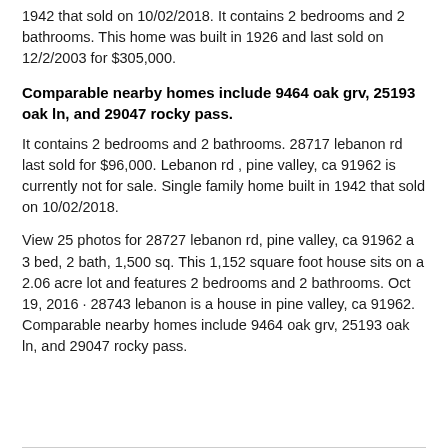1942 that sold on 10/02/2018. It contains 2 bedrooms and 2 bathrooms. This home was built in 1926 and last sold on 12/2/2003 for $305,000.
Comparable nearby homes include 9464 oak grv, 25193 oak ln, and 29047 rocky pass.
It contains 2 bedrooms and 2 bathrooms. 28717 lebanon rd last sold for $96,000. Lebanon rd , pine valley, ca 91962 is currently not for sale. Single family home built in 1942 that sold on 10/02/2018.
View 25 photos for 28727 lebanon rd, pine valley, ca 91962 a 3 bed, 2 bath, 1,500 sq. This 1,152 square foot house sits on a 2.06 acre lot and features 2 bedrooms and 2 bathrooms. Oct 19, 2016 · 28743 lebanon is a house in pine valley, ca 91962. Comparable nearby homes include 9464 oak grv, 25193 oak ln, and 29047 rocky pass.